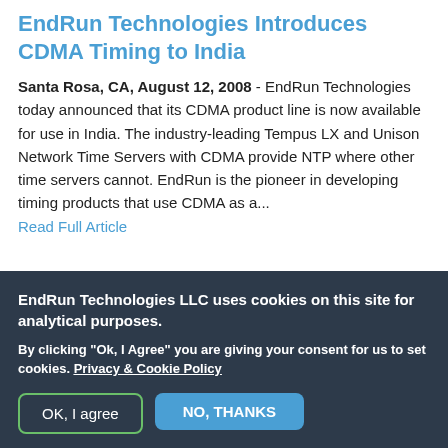EndRun Technologies Introduces CDMA Timing to India
Santa Rosa, CA, August 12, 2008 - EndRun Technologies today announced that its CDMA product line is now available for use in India.  The industry-leading Tempus LX and Unison Network Time Servers with CDMA provide NTP where other time servers cannot.  EndRun is the pioneer in developing timing products that use CDMA as a...
Read Full Article
EndRun Technologies LLC uses cookies on this site for analytical purposes.
By clicking "Ok, I Agree" you are giving your consent for us to set cookies. Privacy & Cookie Policy
OK, I agree
NO, THANKS